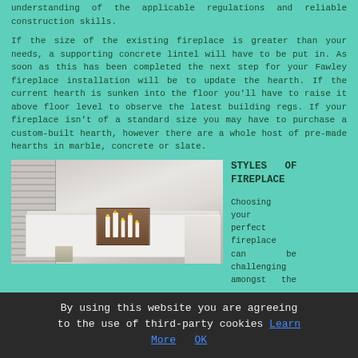understanding of the applicable regulations and reliable construction skills.
If the size of the existing fireplace is greater than your needs, a supporting concrete lintel will have to be put in. As soon as this has been completed the next step for your Fawley fireplace installation will be to update the hearth. If the current hearth is sunken into the floor you'll have to raise it above floor level to observe the latest building regs. If your fireplace isn't of a standard size you may have to purchase a custom-built hearth, however there are a whole host of pre-made hearths in marble, concrete or slate.
[Figure (photo): Interior photo of a white-painted brick fireplace with candles inside, a wooden mantel shelf, louvered shutters on the left, a sofa with cushions on the right, and a metal bucket on the hearth.]
STYLES OF FIREPLACE
Choosing your perfect fireplace can be challenging amongst the
By using this website you are agreeing to the use of third-party cookies Learn More OK